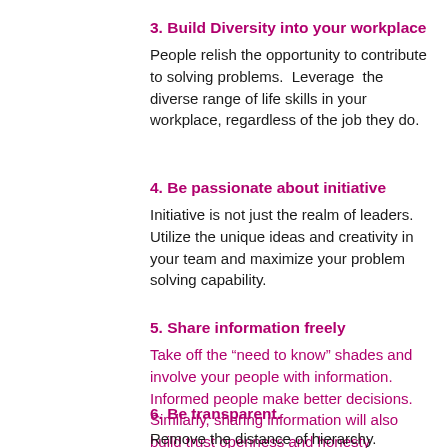3. Build Diversity into your workplace
People relish the opportunity to contribute to solving problems.  Leverage  the diverse range of life skills in your workplace, regardless of the job they do.
4. Be passionate about initiative
Initiative is not just the realm of leaders. Utilize the unique ideas and creativity in your team and maximize your problem solving capability.
5. Share information freely
Take off the “need to know” shades and involve your people with information. Informed people make better decisions. Similarly, sharing information will also build trust openness and honesty
6. Be transparent.
Remove the distance of hierarchy. Distrust is the rot